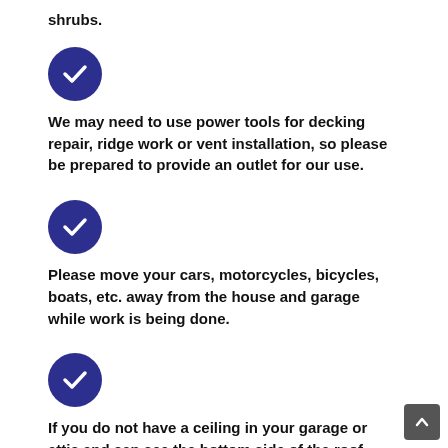shrubs.
We may need to use power tools for decking repair, ridge work or vent installation, so please be prepared to provide an outlet for our use.
Please move your cars, motorcycles, bicycles, boats, etc. away from the house and garage while work is being done.
If you do not have a ceiling in your garage or attic and can see the bottom side of the roof decking, move or cover all items that might get damaged by granules or small pieces of felt or shingles falling through the spaces between decking boards. It is especially important to move or protect cars, boats,